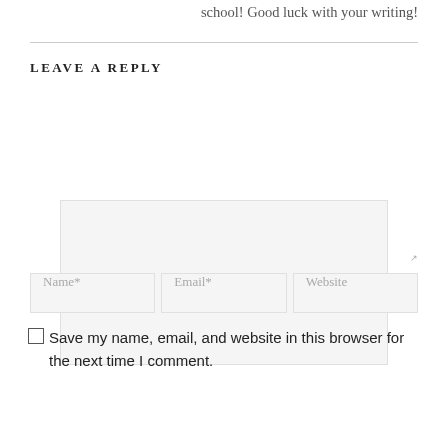school! Good luck with your writing!
LEAVE A REPLY
Save my name, email, and website in this browser for the next time I comment.